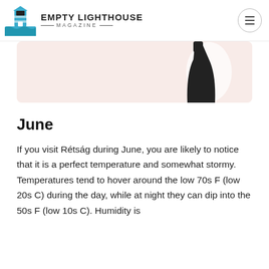Empty Lighthouse Magazine
[Figure (photo): Product photo of a black dress on a pink/blush background]
June
If you visit Rétság during June, you are likely to notice that it is a perfect temperature and somewhat stormy. Temperatures tend to hover around the low 70s F (low 20s C) during the day, while at night they can dip into the 50s F (low 10s C). Humidity is